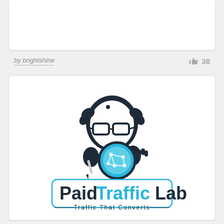by brightshine
38
[Figure (logo): Paid Traffic Lab logo featuring a cartoon scientist character with glasses holding a pen and a blue network globe, with bold text 'PaidTrafficLab' and tagline 'Traffic That Converts']